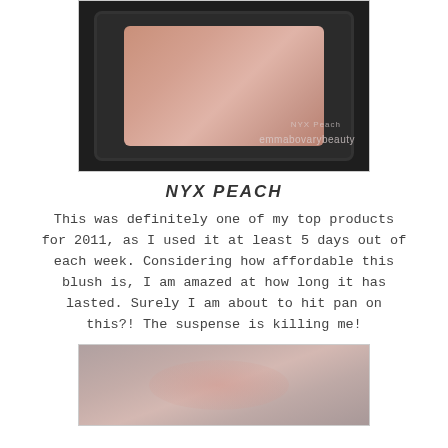[Figure (photo): Close-up photo of NYX Peach blush compact in dark packaging, showing the peach-toned powder pan. Watermarks read 'NYX Peach' and 'emmabovarybeauty'.]
NYX PEACH
This was definitely one of my top products for 2011, as I used it at least 5 days out of each week. Considering how affordable this blush is, I am amazed at how long it has lasted. Surely I am about to hit pan on this?! The suspense is killing me!
[Figure (photo): Swatch photo of NYX Peach blush applied on skin, showing a soft peach-pink color on what appears to be a forearm or wrist.]